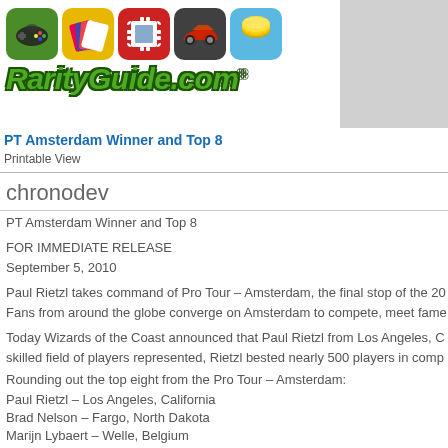[Figure (logo): RarityGuide.com logo with five colored app icons (gaming controller on green, playing cards on yellow, stamps on red, sports car on dark, coins on blue) above the site name in green italic bold font]
PT Amsterdam Winner and Top 8
Printable View
chronodev
PT Amsterdam Winner and Top 8
FOR IMMEDIATE RELEASE
September 5, 2010
Paul Rietzl takes command of Pro Tour – Amsterdam, the final stop of the 20... Fans from around the globe converge on Amsterdam to compete, meet fame...
Today Wizards of the Coast announced that Paul Rietzl from Los Angeles, C... skilled field of players represented, Rietzl bested nearly 500 players in comp...
Rounding out the top eight from the Pro Tour – Amsterdam:
Paul Rietzl – Los Angeles, California
Brad Nelson – Fargo, North Dakota
Marijn Lybaert – Welle, Belgium